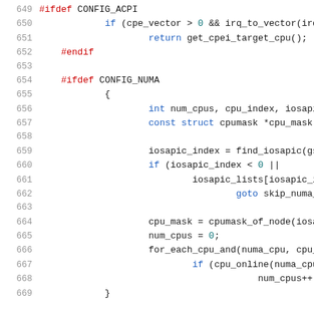[Figure (screenshot): Source code listing showing C code lines 649-669 with syntax highlighting. Lines include #ifdef CONFIG_ACPI, if condition, return statement, #endif, #ifdef CONFIG_NUMA, opening brace, int and const struct declarations, iosapic_index assignment, if condition, iosapic_lists array access, goto statement, cpu_mask and num_cpus assignments, for_each_cpu_and loop, if(cpu_online) check, num_cpus++, and closing brace.]